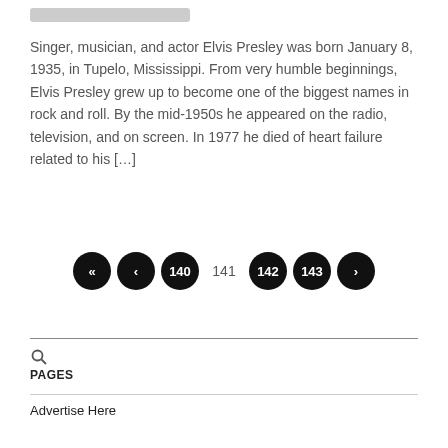[blurred header bar]
Singer, musician, and actor Elvis Presley was born January 8, 1935, in Tupelo, Mississippi. From very humble beginnings, Elvis Presley grew up to become one of the biggest names in rock and roll. By the mid-1950s he appeared on the radio, television, and on screen. In 1977 he died of heart failure related to his […]
PAGES | Advertise Here